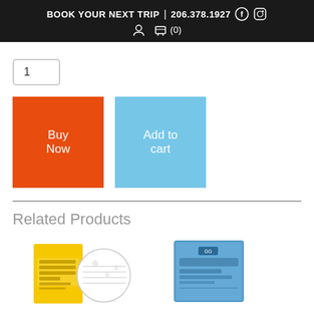BOOK YOUR NEXT TRIP | 206.378.1927
1
Buy Now
Add to cart
Related Products
[Figure (photo): Yellow Rite in the Rain notebook with circular inset showing lined paper pages]
[Figure (photo): Blue packaged product, appears to be weather protection gear]